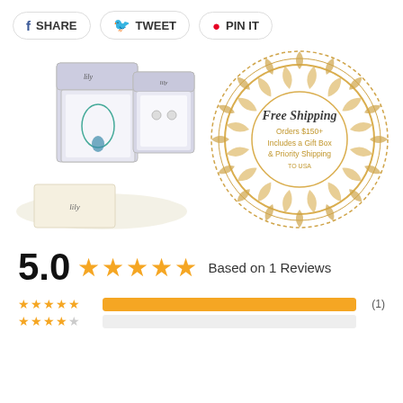SHARE  TWEET  PIN IT
[Figure (photo): Lily jewelry brand gift boxes with necklace and earrings displayed, alongside a gold mandala-style Free Shipping badge that reads: Free Shipping Orders $150+ Includes a Gift Box & Priority Shipping TO USA]
5.0 ★★★★★ Based on 1 Reviews
★★★★★ (1) [5-star bar row] ★★★★☆ (?) [4-star bar row]